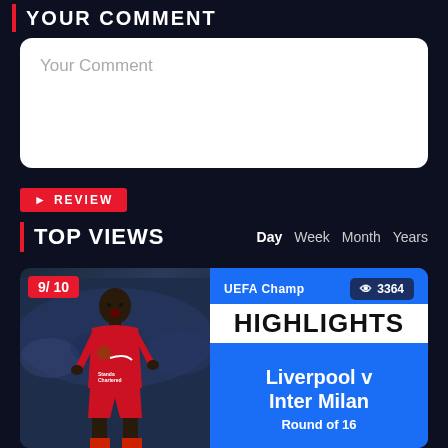YOUR COMMENT
Your Comment
REVIEW
TOP VIEWS
Day  Week  Month  Years
[Figure (screenshot): Sports highlights card showing a Liverpool footballer in red kit, with UEFA Champions League Highlights card for Liverpool v Inter Milan, Round of 16. Rating badge shows 9/10, views badge shows 3364.]